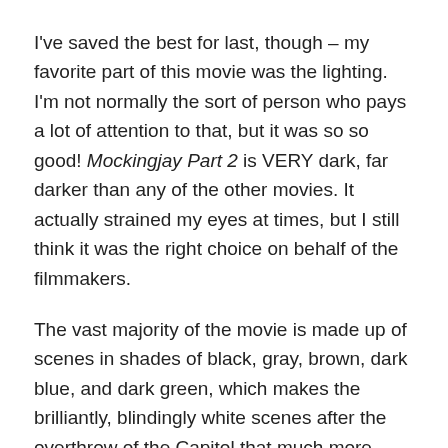I've saved the best for last, though – my favorite part of this movie was the lighting. I'm not normally the sort of person who pays a lot of attention to that, but it was so so good! Mockingjay Part 2 is VERY dark, far darker than any of the other movies. It actually strained my eyes at times, but I still think it was the right choice on behalf of the filmmakers.
The vast majority of the movie is made up of scenes in shades of black, gray, brown, dark blue, and dark green, which makes the brilliantly, blindingly white scenes after the overthrow of the Capitol that much more striking. The epilogue, meanwhile, is a very soft yellow. It was perfect.
Honestly, I have only one problem with this film… but it's kind of a big one, so it really affected my final rating